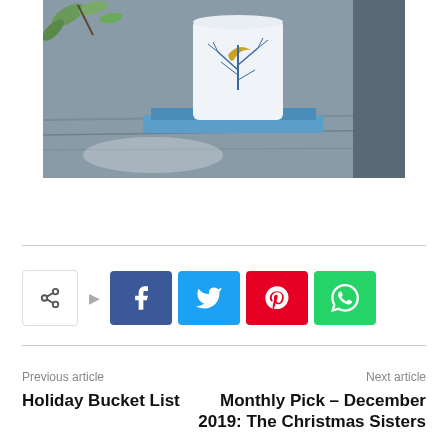[Figure (photo): A decorative white mug with tree branches and crescent moon design sitting on a blue hardcover book on a wooden surface, with green leaves visible at the top left.]
[Figure (infographic): Social share buttons row: a share icon box with arrow, followed by Facebook (blue), Twitter (cyan), Pinterest (red), and WhatsApp (green) buttons.]
Previous article
Holiday Bucket List
Next article
Monthly Pick – December 2019: The Christmas Sisters